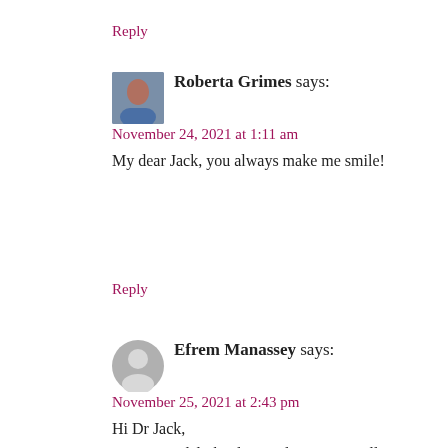Reply
Roberta Grimes says:
November 24, 2021 at 1:11 am
My dear Jack, you always make me smile!
Reply
Efrem Manassey says:
November 25, 2021 at 2:43 pm
Hi Dr Jack,
Yes, I was delighted to read your own telling analysis in your comment above. Together with the potentially endless ocean of Roberta’s blog post this week –